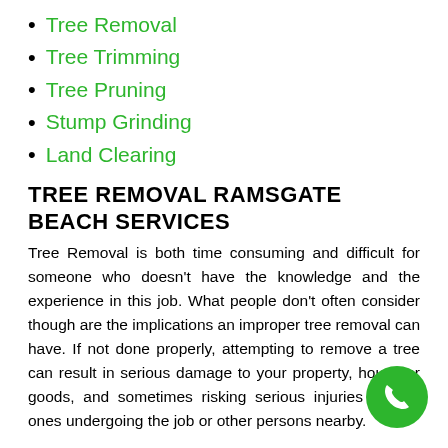Tree Removal
Tree Trimming
Tree Pruning
Stump Grinding
Land Clearing
TREE REMOVAL RAMSGATE BEACH SERVICES
Tree Removal is both time consuming and difficult for someone who doesn't have the knowledge and the experience in this job. What people don't often consider though are the implications an improper tree removal can have. If not done properly, attempting to remove a tree can result in serious damage to your property, house or goods, and sometimes risking serious injuries for the ones undergoing the job or other persons nearby.
The solution is to have the specialists taking care of it. Avoid the effort, risks and additional expenses and